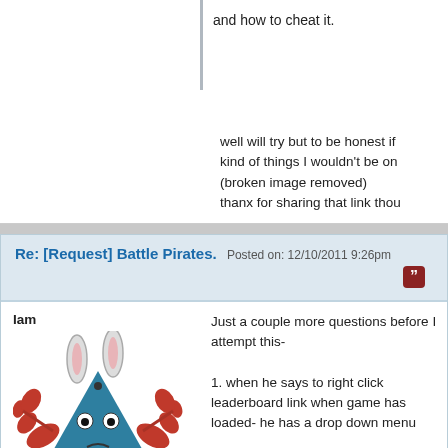and how to cheat it.
well will try but to be honest if kind of things I wouldn't be on (broken image removed) thanx for sharing that link thou
Re: [Request] Battle Pirates. Posted on: 12/10/2011 9:26pm
Iam
[Figure (illustration): Cartoon crab-like character with blue triangular body, red claws, rabbit ears, and grumpy expression]
Just a couple more questions before I attempt this-

1. when he says to right click leaderboard link when game has loaded- he has a drop down menu